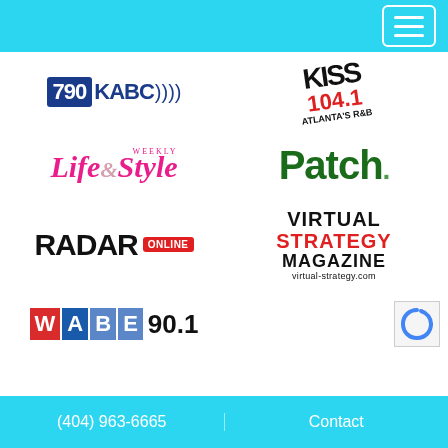[Figure (logo): 790 KABC radio station logo with blue box and radio waves]
[Figure (logo): KISS FM 104.1 Atlanta's R&B radio station logo rotated slightly]
[Figure (logo): Life & Style Weekly magazine logo in pink italic bold font]
[Figure (logo): Patch.com logo in dark green bold font]
[Figure (logo): Radar Online logo in black bold with red ONLINE badge]
[Figure (logo): Virtual Strategy Magazine logo with red STRATEGY text and virtual-strategy.com url]
[Figure (logo): WABE 90.1 radio station logo with colored letter blocks]
(404) 963-6665
Contact